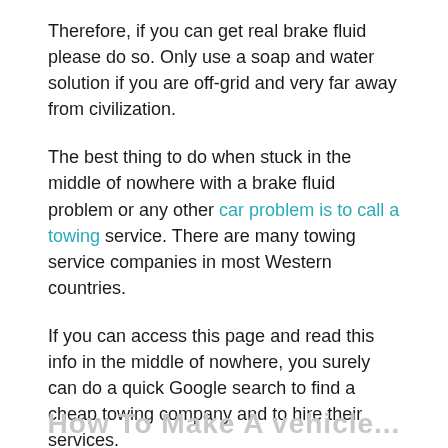Therefore, if you can get real brake fluid please do so. Only use a soap and water solution if you are off-grid and very far away from civilization.
The best thing to do when stuck in the middle of nowhere with a brake fluid problem or any other car problem is to call a towing service. There are many towing service companies in most Western countries.
If you can access this page and read this info in the middle of nowhere, you surely can do a quick Google search to find a cheap towing company and to hire their services.
So only use the soap and water solution to use as brake fluid.
How To Make A vehicle...